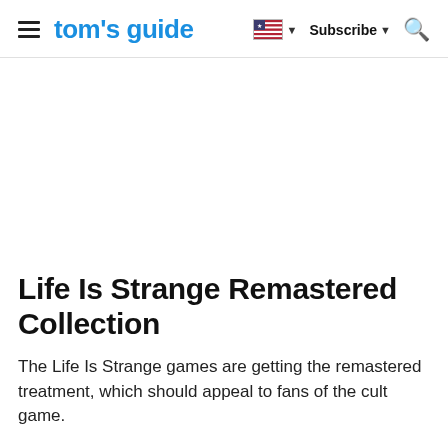tom's guide | Subscribe
Life Is Strange Remastered Collection
The Life Is Strange games are getting the remastered treatment, which should appeal to fans of the cult game.